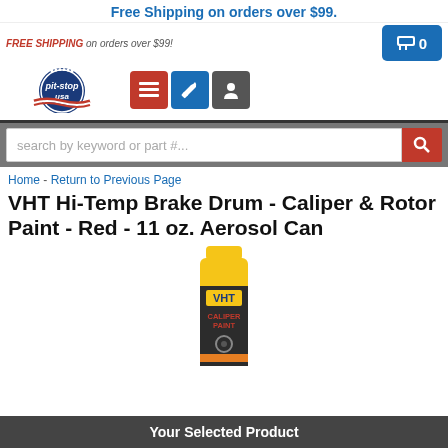Free Shipping on orders over $99.
FREE SHIPPING on orders over $99!
[Figure (logo): Pit Stop USA logo with racing flag and American flag motif]
search by keyword or part #...
Home - Return to Previous Page
VHT Hi-Temp Brake Drum - Caliper & Rotor Paint - Red - 11 oz. Aerosol Can
[Figure (photo): VHT Caliper Paint aerosol spray can, yellow cap, red and black label]
Your Selected Product